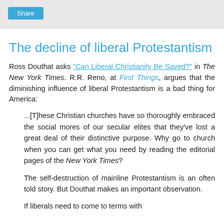Share
The decline of liberal Protestantism
Ross Douthat asks "Can Liberal Christianity Be Saved?" in The New York Times. R.R. Reno, at First Things, argues that the diminishing influence of liberal Protestantism is a bad thing for America:
...[T]hese Christian churches have so thoroughly embraced the social mores of our secular elites that they've lost a great deal of their distinctive purpose. Why go to church when you can get what you need by reading the editorial pages of the New York Times?
The self-destruction of mainline Protestantism is an often told story. But Douthat makes an important observation.
If liberals need to come to terms with